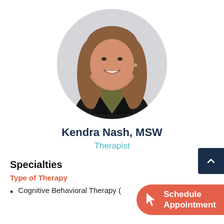[Figure (photo): Circular cropped headshot of Kendra Nash, a young woman with long auburn hair, wearing a dark blazer over an olive turtleneck, smiling, against a light gray background.]
Kendra Nash, MSW
Therapist
Specialties
Type of Therapy
Cognitive Behavioral Therapy (